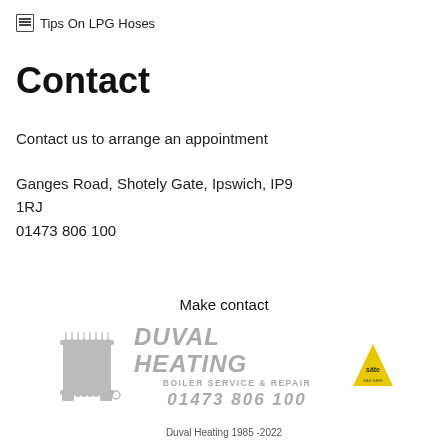Tips On LPG Hoses
Contact
Contact us to arrange an appointment
Ganges Road, Shotely Gate, Ipswich, IP9 1RJ
01473 806 100
Make contact
[Figure (logo): Duval Heating logo with radiator illustration, brand name DUVAL HEATING in large italic text, BOILER SERVICE & REPAIR subtitle, phone number 01473 806 100, and Gas Safe register badge]
Duval Heating 1985 -2022